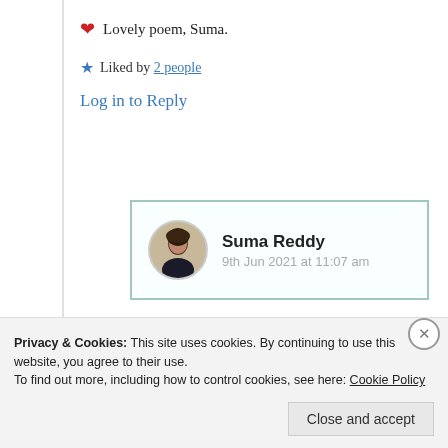❤ Lovely poem, Suma.
★ Liked by 2 people
Log in to Reply
Suma Reddy
9th Jun 2021 at 11:07 am
Privacy & Cookies: This site uses cookies. By continuing to use this website, you agree to their use.
To find out more, including how to control cookies, see here: Cookie Policy
Close and accept